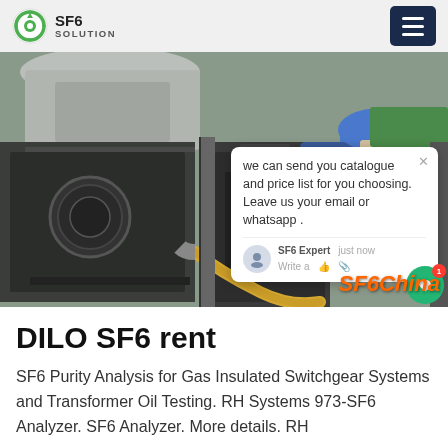SF6 SOLUTION
[Figure (photo): Technician in blue hard hat and mask working on SF6 gas equipment/switchgear, connecting hoses. Chat overlay visible with message about catalogue and price list. SF6China watermark bottom right.]
DILO SF6 rent
SF6 Purity Analysis for Gas Insulated Switchgear Systems and Transformer Oil Testing. RH Systems 973-SF6 Analyzer. SF6 Analyzer. More details. RH